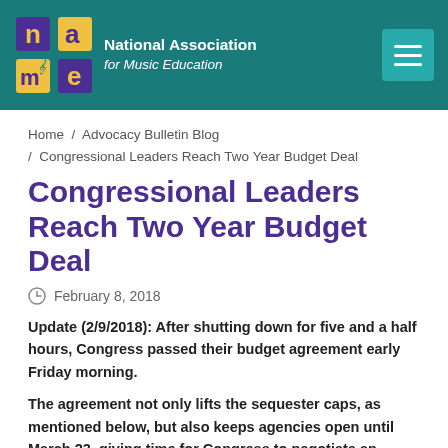National Association for Music Education
Home / Advocacy Bulletin Blog / Congressional Leaders Reach Two Year Budget Deal
Congressional Leaders Reach Two Year Budget Deal
February 8, 2018
Update (2/9/2018): After shutting down for five and a half hours, Congress passed their budget agreement early Friday morning.
The agreement not only lifts the sequester caps, as mentioned below, but also keeps agencies open until March 23, giving time for Congress to negotiate an omnibus to close FY 2018 discussions.
Congressional leaders have announced that they have reached